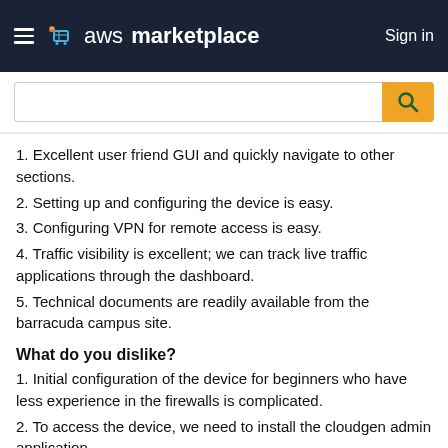aws marketplace | Sign in
1. Excellent user friend GUI and quickly navigate to other sections.
2. Setting up and configuring the device is easy.
3. Configuring VPN for remote access is easy.
4. Traffic visibility is excellent; we can track live traffic applications through the dashboard.
5. Technical documents are readily available from the barracuda campus site.
What do you dislike?
1. Initial configuration of the device for beginners who have less experience in the firewalls is complicated.
2. To access the device, we need to install the cloudgen admin application.
What problems is the product solving and how is that benefiting you?
1. Configuring netflow export to send logs to the external devices.
2. Using the device as a proxy server and blocking unwanted websites.